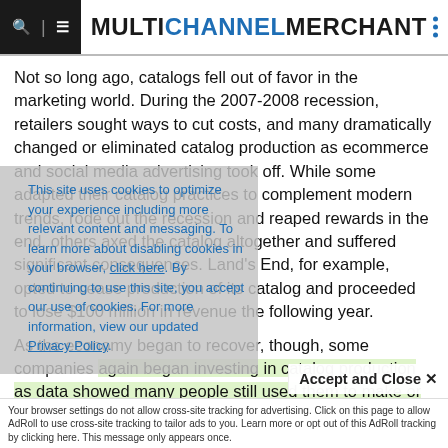MULTICHANNEL MERCHANT
Not so long ago, catalogs fell out of favor in the marketing world. During the 2007-2008 recession, retailers sought ways to cut costs, and many dramatically changed or eliminated catalog production as ecommerce and social media advertising took off. While some adapted their catalog practices to complement modern trends, rode out the recession and reaped rewards in the end, others axed the catalog altogether and suffered significant consequences. Land's End, for example, opted to cease production of its catalog and proceeded to lose $100 million in revenue the following year.
As the economy began to recover, though, some companies again began investing in catalog production as data showed many people still used them to make or research purchases. salmon at that time.
This site uses cookies to optimize your experience including more relevant content and messaging. To learn more about disabling cookies in your browser, click here. By continuing to use this site, you accept our use of cookies. For more information, view our updated Privacy Policy.
Accept and Close ✕
Your browser settings do not allow cross-site tracking for advertising. Click on this page to allow AdRoll to use cross-site tracking to tailor ads to you. Learn more or opt out of this AdRoll tracking by clicking here. This message only appears once.